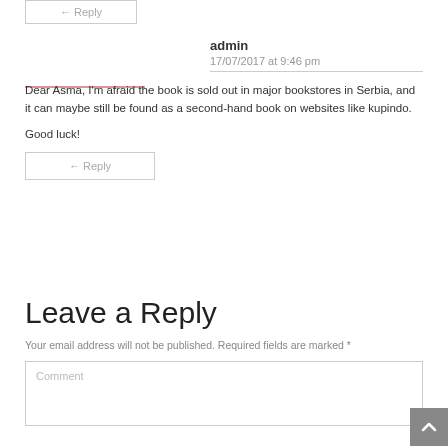← Reply
admin
17/07/2017 at 9:46 pm
Dear Asma, I'm afraid the book is sold out in major bookstores in Serbia, and it can maybe still be found as a second-hand book on websites like kupindo.
Good luck!
← Reply
Leave a Reply
Your email address will not be published. Required fields are marked *
Comment